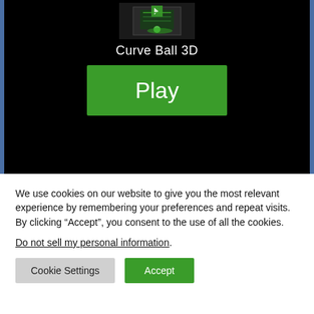[Figure (screenshot): Game app screenshot showing Curve Ball 3D title screen with a green play button on black background]
We use cookies on our website to give you the most relevant experience by remembering your preferences and repeat visits. By clicking “Accept”, you consent to the use of all the cookies.
Do not sell my personal information.
Cookie Settings
Accept